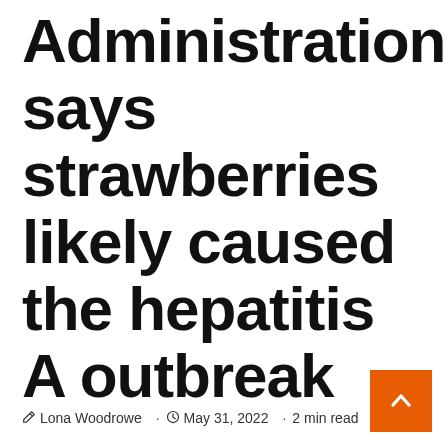Administration says strawberries likely caused the hepatitis A outbreak
Lona Woodrowe · May 31, 2022 · 2 min read